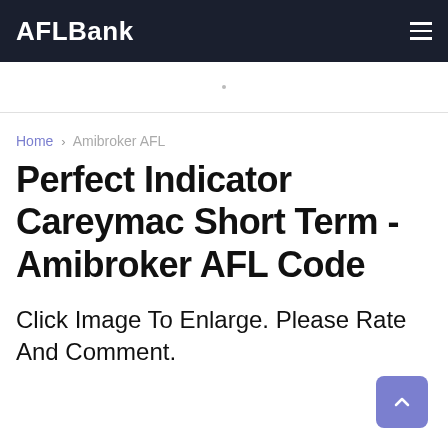AFLBank
Home › Amibroker AFL
Perfect Indicator Careymac Short Term - Amibroker AFL Code
Click Image To Enlarge. Please Rate And Comment.